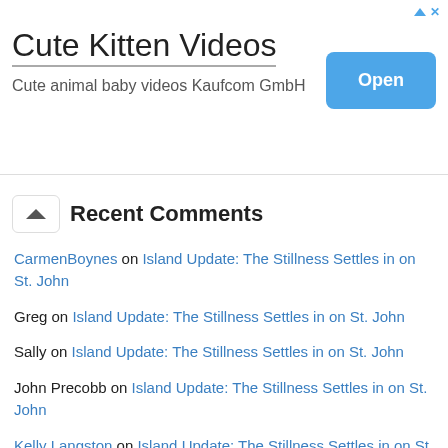[Figure (screenshot): Advertisement banner for 'Cute Kitten Videos' app by Kaufcom GmbH with an 'Open' button]
Recent Comments
CarmenBoynes on Island Update: The Stillness Settles in on St. John
Greg on Island Update: The Stillness Settles in on St. John
Sally on Island Update: The Stillness Settles in on St. John
John Precobb on Island Update: The Stillness Settles in on St. John
Kelly Langston on Island Update: The Stillness Settles in on St. John